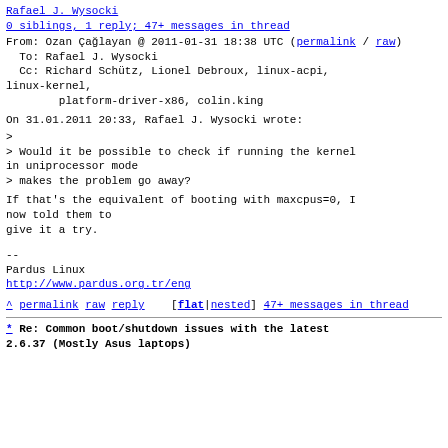Rafael J. Wysocki
0 siblings, 1 reply; 47+ messages in thread
From: Ozan Çağlayan @ 2011-01-31 18:38 UTC (permalink / raw)
  To: Rafael J. Wysocki
  Cc: Richard Schütz, Lionel Debroux, linux-acpi, linux-kernel,
        platform-driver-x86, colin.king
On 31.01.2011 20:33, Rafael J. Wysocki wrote:
>
> Would it be possible to check if running the kernel in uniprocessor mode
> makes the problem go away?
If that's the equivalent of booting with maxcpus=0, I now told them to
give it a try.
--
Pardus Linux
http://www.pardus.org.tr/eng
^ permalink raw reply   [flat|nested]  47+ messages in thread
* Re: Common boot/shutdown issues with the latest
2.6.37 (Mostly Asus laptops)